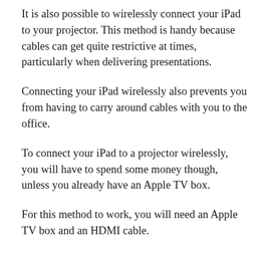It is also possible to wirelessly connect your iPad to your projector. This method is handy because cables can get quite restrictive at times, particularly when delivering presentations.
Connecting your iPad wirelessly also prevents you from having to carry around cables with you to the office.
To connect your iPad to a projector wirelessly, you will have to spend some money though, unless you already have an Apple TV box.
For this method to work, you will need an Apple TV box and an HDMI cable.